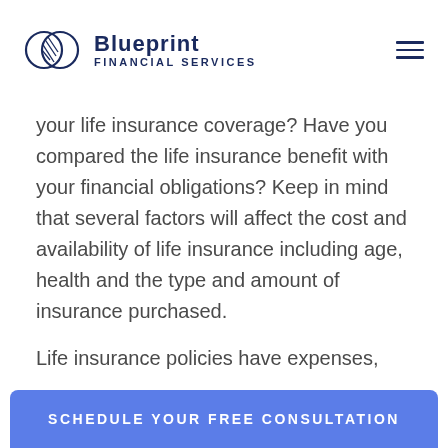Blueprint Financial Services
your life insurance coverage? Have you compared the life insurance benefit with your financial obligations? Keep in mind that several factors will affect the cost and availability of life insurance including age, health and the type and amount of insurance purchased.
Life insurance policies have expenses,
SCHEDULE YOUR FREE CONSULTATION